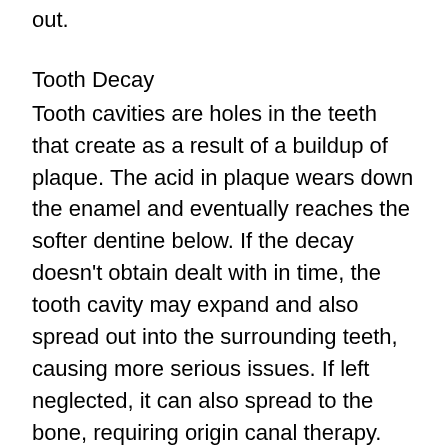out.
Tooth Decay
Tooth cavities are holes in the teeth that create as a result of a buildup of plaque. The acid in plaque wears down the enamel and eventually reaches the softer dentine below. If the decay doesn't obtain dealt with in time, the tooth cavity may expand and also spread out into the surrounding teeth, causing more serious issues. If left neglected, it can also spread to the bone, requiring origin canal therapy. The bright side is that a dental professional can carry out gum tissue therapy for tooth decay to conserve teeth and also gum tissues.
The early stages of dental cavity can be